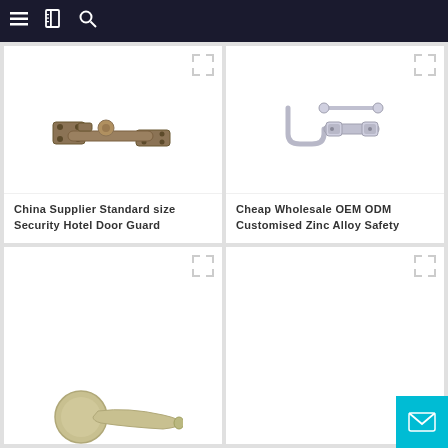Navigation bar with menu, catalog, and search icons
[Figure (photo): Bronze/antique brass door guard bar latch hardware on white background]
China Supplier Standard size Security Hotel Door Guard
[Figure (photo): Chrome/silver zinc alloy safety door guard bar latch hardware on white background]
Cheap Wholesale OEM ODM Customised Zinc Alloy Safety
[Figure (photo): Satin nickel lever door handle on rose plate, partial view]
[Figure (photo): Empty product card placeholder, no image visible]